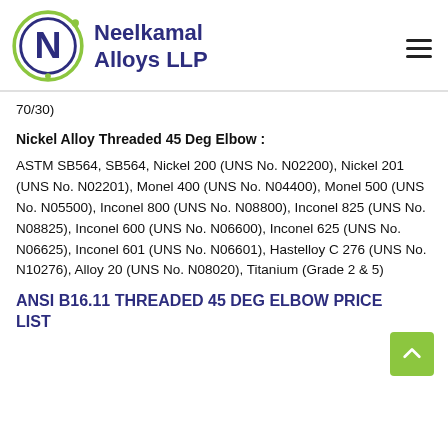[Figure (logo): Neelkamal Alloys LLP logo with circular N emblem in green and dark blue, company name in dark blue bold text]
70/30)
Nickel Alloy Threaded 45 Deg Elbow :
ASTM SB564, SB564, Nickel 200 (UNS No. N02200), Nickel 201 (UNS No. N02201), Monel 400 (UNS No. N04400), Monel 500 (UNS No. N05500), Inconel 800 (UNS No. N08800), Inconel 825 (UNS No. N08825), Inconel 600 (UNS No. N06600), Inconel 625 (UNS No. N06625), Inconel 601 (UNS No. N06601), Hastelloy C 276 (UNS No. N10276), Alloy 20 (UNS No. N08020), Titanium (Grade 2 & 5)
ANSI B16.11 THREADED 45 DEG ELBOW PRICE LIST